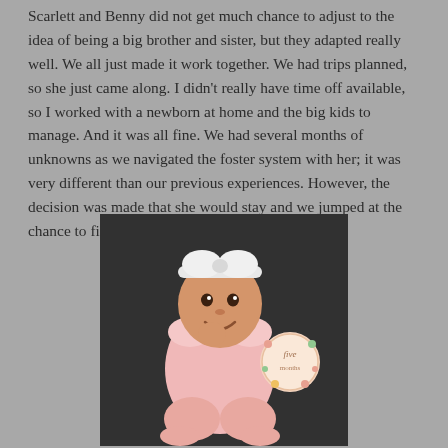Scarlett and Benny did not get much chance to adjust to the idea of being a big brother and sister, but they adapted really well. We all just made it work together. We had trips planned, so she just came along. I didn't really have time off available, so I worked with a newborn at home and the big kids to manage. And it was all fine. We had several months of unknowns as we navigated the foster system with her; it was very different than our previous experiences. However, the decision was made that she would stay and we jumped at the chance to finalize her adoption as soon as possible.
[Figure (photo): A smiling baby girl wearing a white bow headband and a pink ruffle romper, sitting on a dark gray fluffy rug. Next to her is a round milestone marker that says 'five months'.]